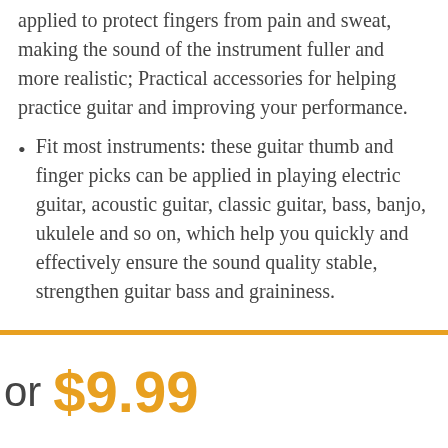applied to protect fingers from pain and sweat, making the sound of the instrument fuller and more realistic; Practical accessories for helping practice guitar and improving your performance.
Fit most instruments: these guitar thumb and finger picks can be applied in playing electric guitar, acoustic guitar, classic guitar, bass, banjo, ukulele and so on, which help you quickly and effectively ensure the sound quality stable, strengthen guitar bass and graininess.
or $9.99